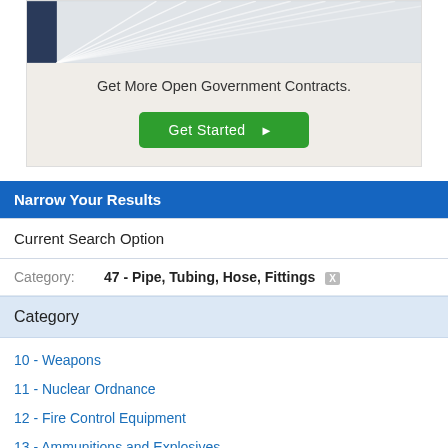[Figure (photo): Photo of pages/fan of white papers with blue element, office/binder aesthetic]
Get More Open Government Contracts.
Get Started ▶
Narrow Your Results
Current Search Option
Category: 47 - Pipe, Tubing, Hose, Fittings X
Category
10 - Weapons
11 - Nuclear Ordnance
12 - Fire Control Equipment
13 - Ammunitions and Explosives